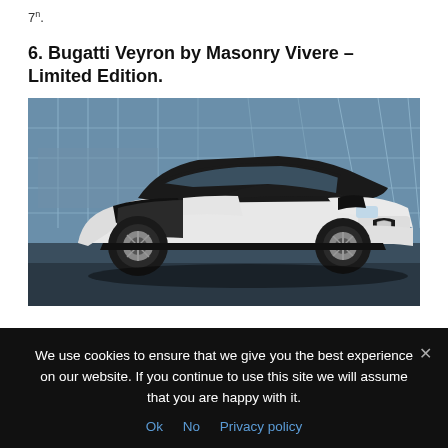7°.
6. Bugatti Veyron by Masonry Vivere – Limited Edition.
[Figure (photo): A black and white Bugatti Veyron luxury supercar photographed in front of a glass building facade. The car has a distinctive two-tone black and white paint scheme.]
We use cookies to ensure that we give you the best experience on our website. If you continue to use this site we will assume that you are happy with it.
Ok   No   Privacy policy